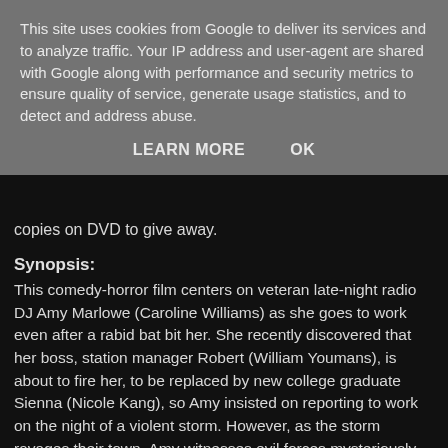This site uses cookies from Google to deliver its services and to analyze traffic. Your IP address and user-agent are shared with Google along with performance and security metrics to ensure quality of service, generate usage statistics, and to detect and address abuse.
LEARN MORE    OK
copies on DVD to give away.
Synopsis:
This comedy-horror film centers on veteran late-night radio DJ Amy Marlowe (Caroline Williams) as she goes to work even after a rabid bat bit her. She recently discovered that her boss, station manager Robert (William Youmans), is about to fire her, to be replaced by new college graduate Sienna (Nicole Kang), so Amy insisted on reporting to work on the night of a violent storm. However, as the storm ravages their town, Amy witnesses evil forces mysteriously killing her co-workers one by one outside her DJ booth. Directed by Erik Bloomquist.